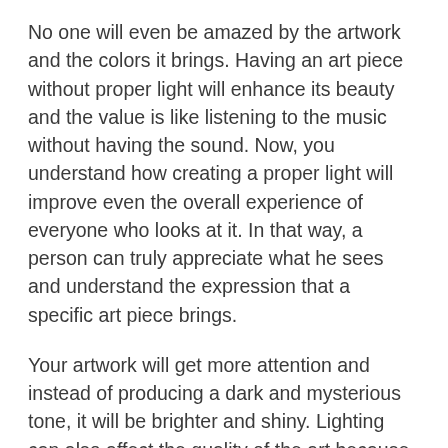No one will even be amazed by the artwork and the colors it brings. Having an art piece without proper light will enhance its beauty and the value is like listening to the music without having the sound. Now, you understand how creating a proper light will improve even the overall experience of everyone who looks at it. In that way, a person can truly appreciate what he sees and understand the expression that a specific art piece brings.
Your artwork will get more attention and instead of producing a dark and mysterious tone, it will be brighter and shiny. Lighting can also affect the quality of the art because inadequate lighting can damage the art in the long term. Therefore, if you think that this change can improve your overall interior design and make your home incredibly elegant and warm, you can see a wide range of different lighting options on this website.
It is very important to collaborate with a professional company in order to get the overall artwork appearance lighting that will be attractive, durable, effective, and most